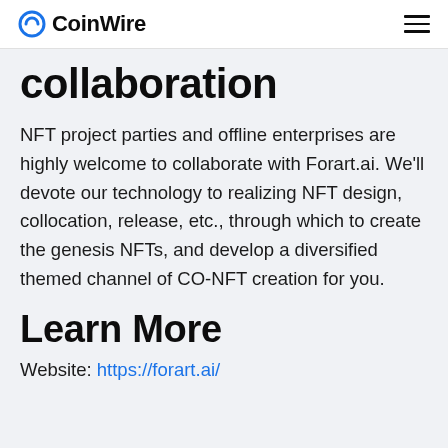CoinWire
collaboration
NFT project parties and offline enterprises are highly welcome to collaborate with Forart.ai. We'll devote our technology to realizing NFT design, collocation, release, etc., through which to create the genesis NFTs, and develop a diversified themed channel of CO-NFT creation for you.
Learn More
Website: https://forart.ai/